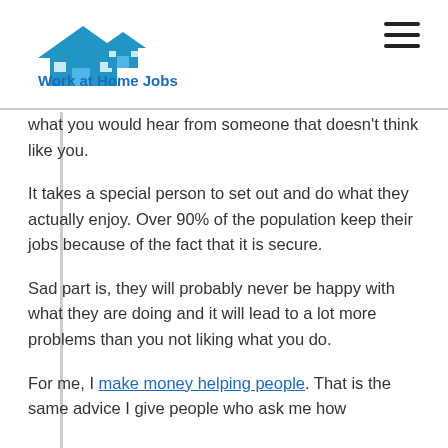Work at Home Jobs
what you would hear from someone that doesn't think like you.
It takes a special person to set out and do what they actually enjoy. Over 90% of the population keep their jobs because of the fact that it is secure.
Sad part is, they will probably never be happy with what they are doing and it will lead to a lot more problems than you not liking what you do.
For me, I make money helping people. That is the same advice I give people who ask me how